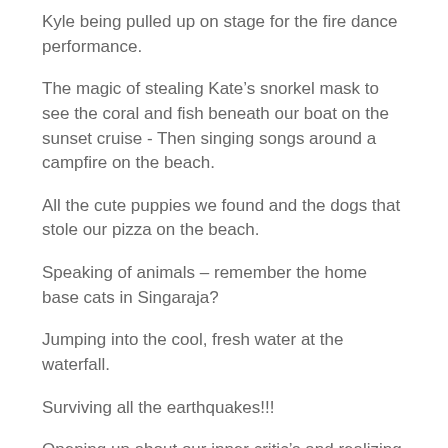Kyle being pulled up on stage for the fire dance performance.
The magic of stealing Kate's snorkel mask to see the coral and fish beneath our boat on the sunset cruise - Then singing songs around a campfire on the beach.
All the cute puppies we found and the dogs that stole our pizza on the beach.
Speaking of animals – remember the home base cats in Singaraja?
Jumping into the cool, fresh water at the waterfall.
Surviving all the earthquakes!!!
Opening up about our inner critic's and realizing that we all are much harder on ourselves than we should be.